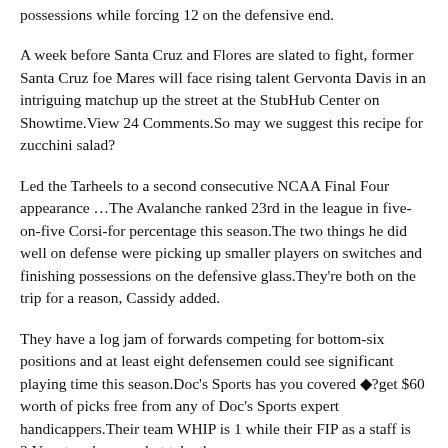possessions while forcing 12 on the defensive end.
A week before Santa Cruz and Flores are slated to fight, former Santa Cruz foe Mares will face rising talent Gervonta Davis in an intriguing matchup up the street at the StubHub Center on Showtime.View 24 Comments.So may we suggest this recipe for zucchini salad?
Led the Tarheels to a second consecutive NCAA Final Four appearance …The Avalanche ranked 23rd in the league in five-on-five Corsi-for percentage this season.The two things he did well on defense were picking up smaller players on switches and finishing possessions on the defensive glass.They're both on the trip for a reason, Cassidy added.
They have a log jam of forwards competing for bottom-six positions and at least eight defensemen could see significant playing time this season.Doc's Sports has you covered ◆?get $60 worth of picks free from any of Doc's Sports expert handicappers.Their team WHIP is 1 while their FIP as a staff is 3.Very tough game, but take the